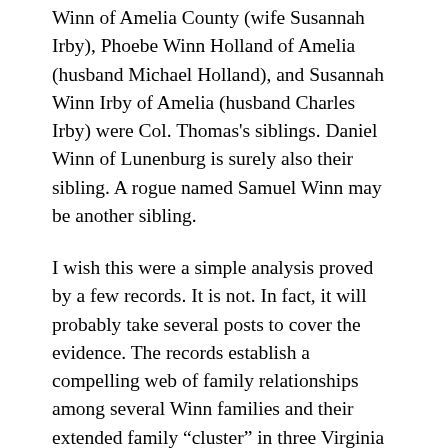Winn of Amelia County (wife Susannah Irby), Phoebe Winn Holland of Amelia (husband Michael Holland), and Susannah Winn Irby of Amelia (husband Charles Irby) were Col. Thomas's siblings. Daniel Winn of Lunenburg is surely also their sibling. A rogue named Samuel Winn may be another sibling.
I wish this were a simple analysis proved by a few records. It is not. In fact, it will probably take several posts to cover the evidence. The records establish a compelling web of family relationships among several Winn families and their extended family “cluster” in three Virginia counties. They also provide a great deal of information about this family. So hang on to your hats.